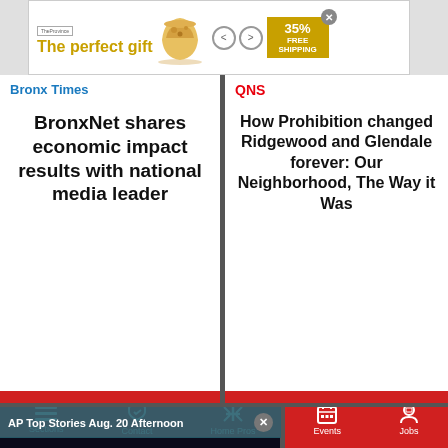[Figure (screenshot): Advertisement banner: 'The perfect gift' with bowl image and navigation arrows, 35% FREE SHIPPING badge]
Bronx Times
BronxNet shares economic impact results with national media leader
QNS
How Prohibition changed Ridgewood and Glendale forever: Our Neighborhood, The Way it Was
[Figure (screenshot): AP Newsminute video player showing Earth from space with AP logo and NEWSMINUTE text. Header reads 'AP Top Stories Aug. 20 Afternoon']
[Figure (photo): Two people at an event, woman in green holding flowers, man in background, building visible]
Gay City News
rlem's Marcus Garvey
Sections | Contact | Home Pros | Events | Jobs